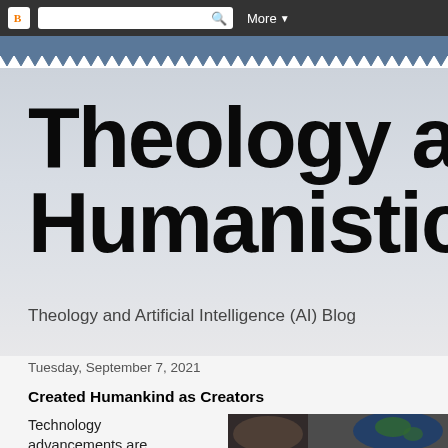Blogger navigation bar with search and More menu
Theology and A
Humanistic Soc
Theology and Artificial Intelligence (AI) Blog
Tuesday, September 7, 2021
Created Humankind as Creators
Technology advancements are
[Figure (photo): Photo of hands and earth globe, partially visible]